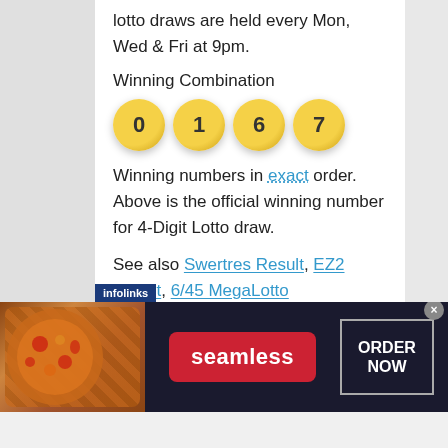lotto draws are held every Mon, Wed & Fri at 9pm.
Winning Combination
[Figure (infographic): Four golden lottery balls showing the winning numbers 0, 1, 6, 7]
Winning numbers in exact order. Above is the official winning number for 4-Digit Lotto draw.
See also Swertres Result, EZ2 Result, 6/45 MegaLotto Result , 6/55 Grand Lotto Result and 4-Digit Result page.
[Figure (infographic): Seamless food delivery advertisement banner with pizza image, seamless logo in red, and ORDER NOW button]